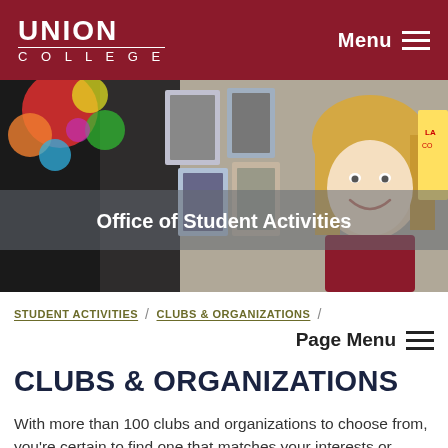UNION COLLEGE | Menu
[Figure (photo): Hero banner photo showing a smiling female student at a clubs fair with colorful posters and balloons in the background. The text 'Office of Student Activities' appears overlaid on the image.]
Office of Student Activities
STUDENT ACTIVITIES / CLUBS & ORGANIZATIONS /
Page Menu
CLUBS & ORGANIZATIONS
With more than 100 clubs and organizations to choose from, you're certain to find one that matches your interests or talents, or simply sparks